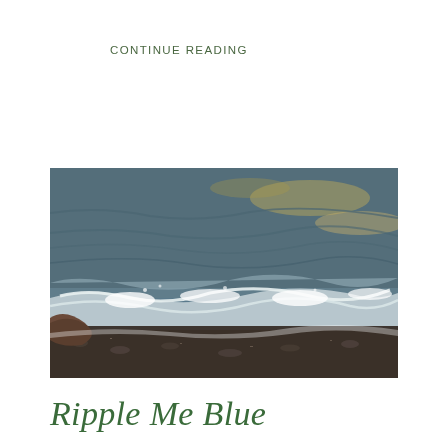CONTINUE READING
[Figure (photo): Close-up photograph of ocean waves washing up on a rocky/pebbly shore, with sunlight reflecting off the water. The upper portion shows rippling deep blue-gray water, and the lower portion shows white foamy surf meeting a dark gravelly beach. Warm golden light catches the wave crests.]
Ripple Me Blue